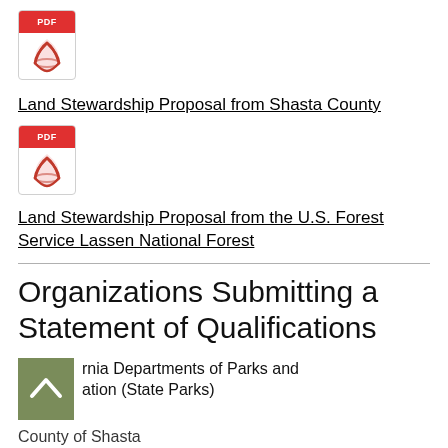[Figure (other): PDF file icon with red PDF label and Adobe Acrobat symbol]
Land Stewardship Proposal from Shasta County
[Figure (other): PDF file icon with red PDF label and Adobe Acrobat symbol]
Land Stewardship Proposal from the U.S. Forest Service Lassen National Forest
Organizations Submitting a Statement of Qualifications
[Figure (other): Green square icon with white upward chevron/arrow]
rnia Departments of Parks and ation (State Parks)
County of Shasta